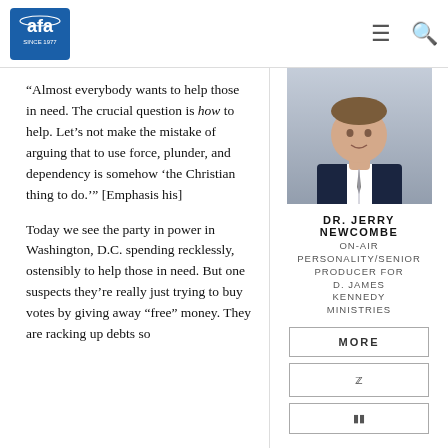AFA — Since 1977
“Almost everybody wants to help those in need. The crucial question is how to help. Let’s not make the mistake of arguing that to use force, plunder, and dependency is somehow ‘the Christian thing to do.’” [Emphasis his]
[Figure (photo): Headshot of Dr. Jerry Newcombe in a suit]
DR. JERRY NEWCOMBE
ON-AIR PERSONALITY/SENIOR PRODUCER FOR D. JAMES KENNEDY MINISTRIES
Today we see the party in power in Washington, D.C. spending recklessly, ostensibly to help those in need. But one suspects they’re really just trying to buy votes by giving away “free” money. They are racking up debts so